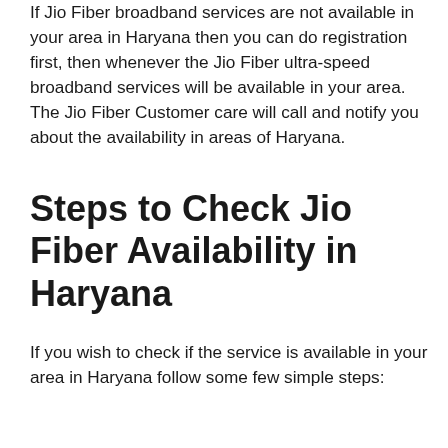If Jio Fiber broadband services are not available in your area in Haryana then you can do registration first, then whenever the Jio Fiber ultra-speed broadband services will be available in your area. The Jio Fiber Customer care will call and notify you about the availability in areas of Haryana.
Steps to Check Jio Fiber Availability in Haryana
If you wish to check if the service is available in your area in Haryana follow some few simple steps: